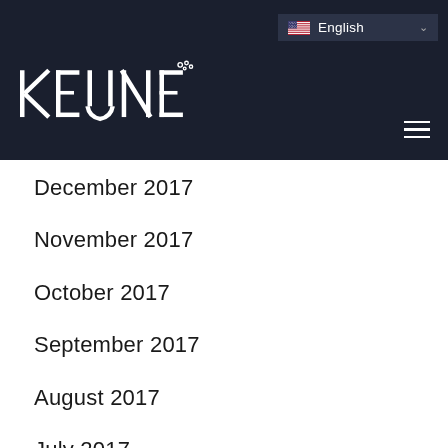Keune — English language selector and navigation
December 2017
November 2017
October 2017
September 2017
August 2017
July 2017
June 2017
May 2017
April 2017